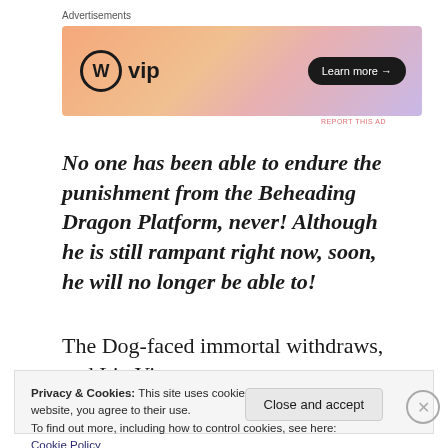Advertisements
[Figure (other): WordPress VIP advertisement banner with gradient background (orange to pink to purple), WordPress logo circle with 'W', text 'vip', and 'Learn more →' button on black pill]
No one has been able to endure the punishment from the Beheading Dragon Platform, never! Although he is still rampant right now, soon, he will no longer be able to!
The Dog-faced immortal withdraws, and Liu Yi
Privacy & Cookies: This site uses cookies. By continuing to use this website, you agree to their use.
To find out more, including how to control cookies, see here: Cookie Policy
Close and accept